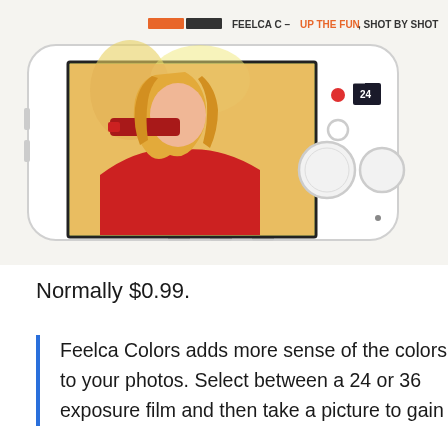[Figure (screenshot): App advertisement screenshot showing a smartphone (landscape orientation) with a camera UI. The phone screen displays a woman with blonde hair drinking from a bottle, image filtered in red/yellow vintage tones. Above the phone: orange/black bar logo with text 'FEELCA C – UP THE FUN , SHOT BY SHOT'. Phone shows camera controls: record button, circular buttons, film frame counter showing '24'. Background is off-white/cream.]
Normally $0.99.
Feelca Colors adds more sense of the colors to your photos. Select between a 24 or 36 exposure film and then take a picture to gain